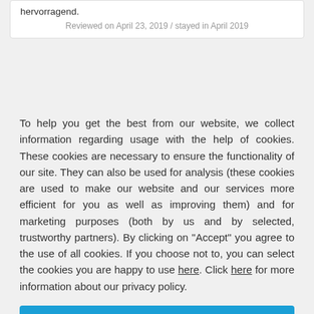hervorragend.
Reviewed on April 23, 2019 / stayed in April 2019
To help you get the best from our website, we collect information regarding usage with the help of cookies. These cookies are necessary to ensure the functionality of our site. They can also be used for analysis (these cookies are used to make our website and our services more efficient for you as well as improving them) and for marketing purposes (both by us and by selected, trustworthy partners). By clicking on "Accept" you agree to the use of all cookies. If you choose not to, you can select the cookies you are happy to use here. Click here for more information about our privacy policy.
Accept
Decline
Configure